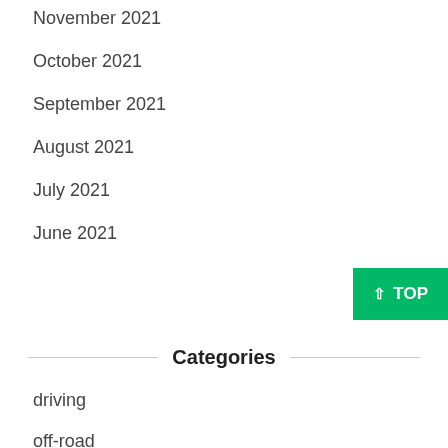November 2021
October 2021
September 2021
August 2021
July 2021
June 2021
Categories
driving
off-road